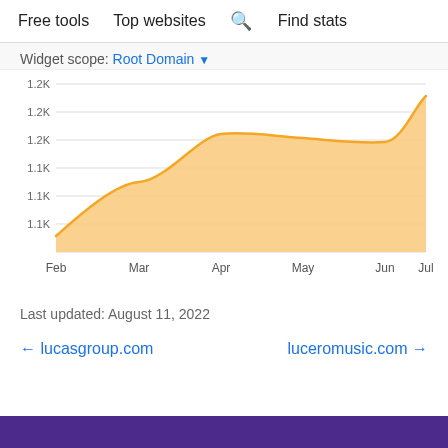Free tools   Top websites   Find stats
Widget scope: Root Domain
[Figure (area-chart): ]
Last updated: August 11, 2022
← lucasgroup.com     luceromusic.com →